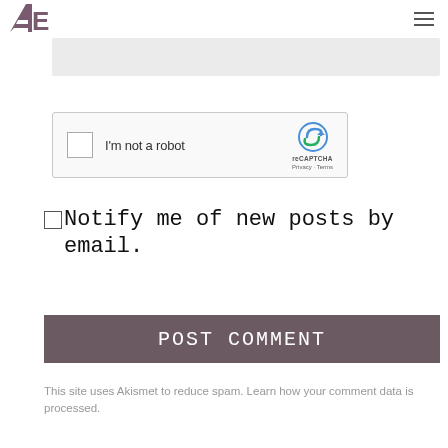AE (logo) with hamburger menu
[Figure (screenshot): Gray text input box area (top of comment form)]
[Figure (screenshot): reCAPTCHA widget: checkbox labeled 'I'm not a robot' with reCAPTCHA logo, Privacy and Terms links]
Notify me of new posts by email.
POST COMMENT
This site uses Akismet to reduce spam. Learn how your comment data is processed.